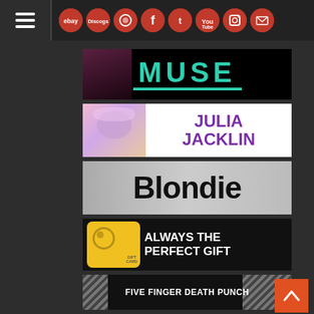Navigation header with hamburger menu and social/external link icons: eBay, Discogs, photo, Facebook, Twitter, YouTube, Instagram, Email
[Figure (illustration): MUSE band promotional banner — dark background with teal/turquoise MUSE text and underline]
[Figure (illustration): Julia Jacklin promotional banner — photo on left, purple bold text JULIA JACKLIN on white background]
[Figure (illustration): Blondie promotional banner — grey background with large bold black Blondie text]
[Figure (illustration): Gift card promotional banner — yellow gift card image on black background, text: ALWAYS THE PERFECT GIFT]
[Figure (illustration): Five Finger Death Punch promotional banner — diagonal stripes on sides, white text on dark background]
[Figure (illustration): Partial banner at bottom of page]